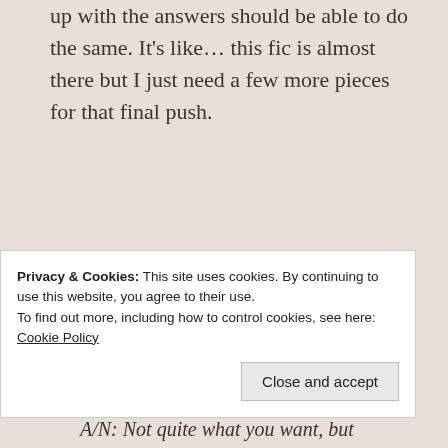up with the answers should be able to do the same. It’s like… this fic is almost there but I just need a few more pieces for that final push.
~
Help me out with this ficlet/check out the Ask Box Would You Ever!
A/N: Not quite what you want, but hopefully
Privacy & Cookies: This site uses cookies. By continuing to use this website, you agree to their use.
To find out more, including how to control cookies, see here:
Cookie Policy
Close and accept